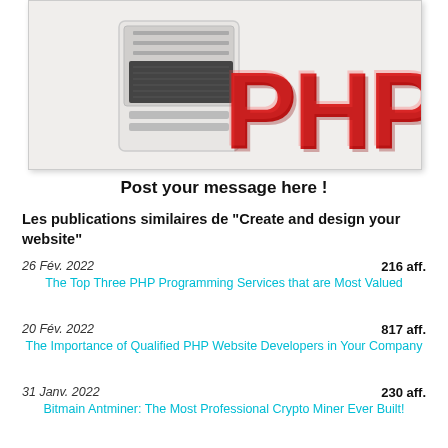[Figure (photo): PHP 3D red letters emerging from a server computer against white background]
Post your message here !
Les publications similaires de "Create and design your website"
26 Fév. 2022	216 aff.
The Top Three PHP Programming Services that are Most Valued
20 Fév. 2022	817 aff.
The Importance of Qualified PHP Website Developers in Your Company
31 Janv. 2022	230 aff.
Bitmain Antminer: The Most Professional Crypto Miner Ever Built!